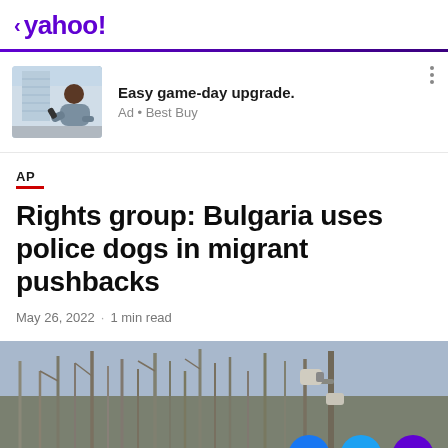< yahoo!
[Figure (photo): Advertisement: Man sitting on couch with TV remote, smiling. Ad for Best Buy. Text: Easy game-day upgrade. Ad • Best Buy]
AP
Rights group: Bulgaria uses police dogs in migrant pushbacks
May 26, 2022 · 1 min read
[Figure (photo): Outdoor winter scene with bare trees and a surveillance camera mounted on a pole, grey sky in background]
[Figure (other): Social share buttons: Facebook (blue circle), Twitter (cyan circle), Email/mail (purple circle)]